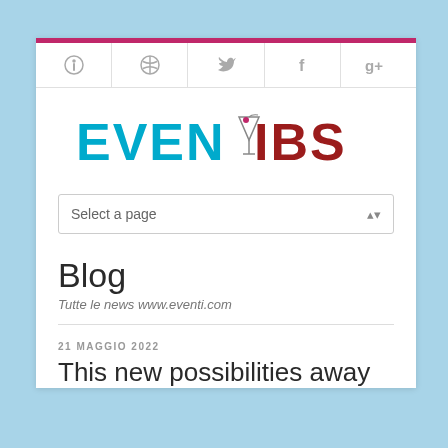[Figure (logo): EVENTIBS logo with martini glass icon between EVEN and IBS, EVEN in cyan/blue, IBS in dark red]
Select a page
Blog
Tutte le news www.eventi.com
21 MAGGIO 2022
This new possibilities away